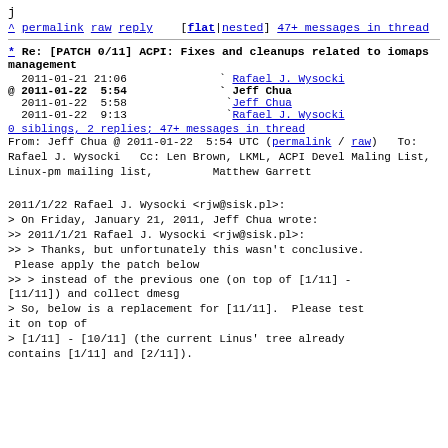j
^ permalink raw reply [flat|nested] 47+ messages in thread
* Re: [PATCH 0/11] ACPI: Fixes and cleanups related to iomaps management
| 2011-01-21 21:06 | ` | Rafael J. Wysocki |
| @ 2011-01-22  5:54 | ` | Jeff Chua |
| 2011-01-22  5:58 | ` | Jeff Chua |
| 2011-01-22  9:13 | ` | Rafael J. Wysocki |
0 siblings, 2 replies; 47+ messages in thread
From: Jeff Chua @ 2011-01-22  5:54 UTC (permalink / raw)
To: Rafael J. Wysocki
Cc: Len Brown, LKML, ACPI Devel Maling List, Linux-pm mailing list,
        Matthew Garrett
2011/1/22 Rafael J. Wysocki <rjw@sisk.pl>:
> On Friday, January 21, 2011, Jeff Chua wrote:
>> 2011/1/21 Rafael J. Wysocki <rjw@sisk.pl>:
>> > Thanks, but unfortunately this wasn't conclusive.  Please apply the patch below
>> > instead of the previous one (on top of [1/11] - [11/11]) and collect dmesg
> So, below is a replacement for [11/11].  Please test it on top of
> [1/11] - [10/11] (the current Linus' tree already contains [1/11] and [2/11])